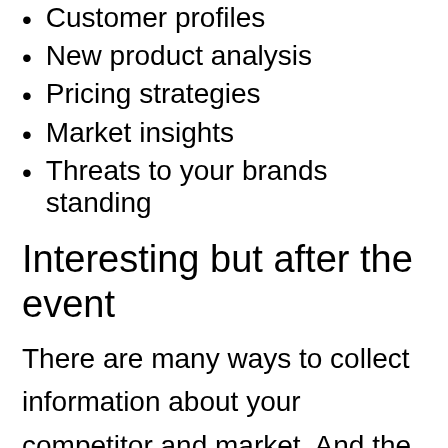Customer profiles
New product analysis
Pricing strategies
Market insights
Threats to your brands standing
Interesting but after the event
There are many ways to collect information about your competitor and market. And the most obvious one is to fire up Google and type away. This sort of search will reveal all the necessary basic information and their social media, articles and PR